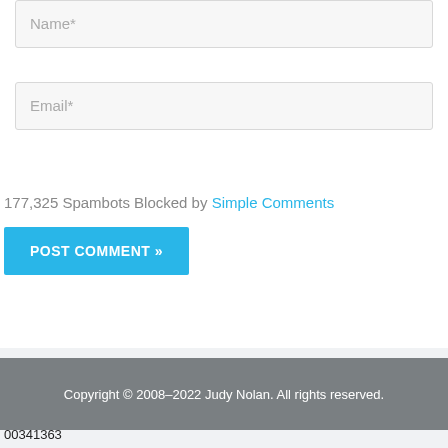Name*
Email*
177,325 Spambots Blocked by Simple Comments
POST COMMENT »
Copyright © 2008–2022 Judy Nolan. All rights reserved.
00341363